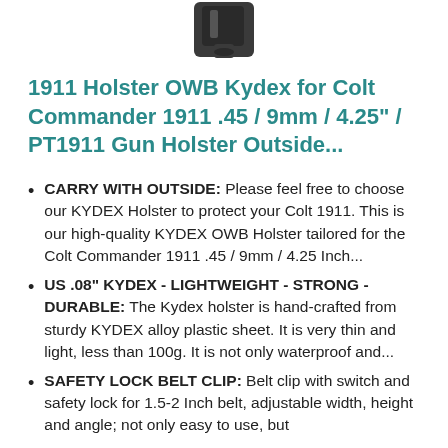[Figure (photo): Black OWB Kydex holster product photo, top portion visible]
1911 Holster OWB Kydex for Colt Commander 1911 .45 / 9mm / 4.25" / PT1911 Gun Holster Outside...
CARRY WITH OUTSIDE: Please feel free to choose our KYDEX Holster to protect your Colt 1911. This is our high-quality KYDEX OWB Holster tailored for the Colt Commander 1911 .45 / 9mm / 4.25 Inch...
US .08" KYDEX - LIGHTWEIGHT - STRONG - DURABLE: The Kydex holster is hand-crafted from sturdy KYDEX alloy plastic sheet. It is very thin and light, less than 100g. It is not only waterproof and...
SAFETY LOCK BELT CLIP: Belt clip with switch and safety lock for 1.5-2 Inch belt, adjustable width, height and angle; not only easy to use, but